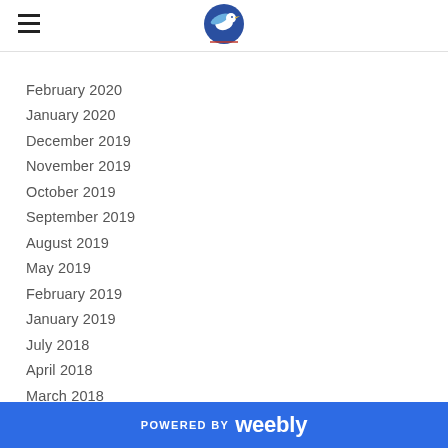[logo: bird conservation society]
February 2020
January 2020
December 2019
November 2019
October 2019
September 2019
August 2019
May 2019
February 2019
January 2019
July 2018
April 2018
March 2018
February 2018
January 2018
POWERED BY weebly